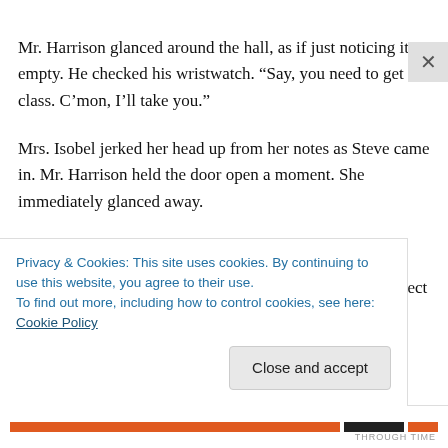Mr. Harrison glanced around the hall, as if just noticing it empty. He checked his wristwatch. “Say, you need to get to class. C’mon, I’ll take you.”
Mrs. Isobel jerked her head up from her notes as Steve came in. Mr. Harrison held the door open a moment. She immediately glanced away.
Tess didn't come Thursday, either, and he'd begun to suspect she wouldn't show up Friday after all. When he
Privacy & Cookies: This site uses cookies. By continuing to use this website, you agree to their use.
To find out more, including how to control cookies, see here: Cookie Policy
Close and accept